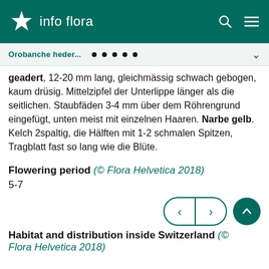info flora
Orobanche heder...
geadert, 12-20 mm lang, gleichmässig schwach gebogen, kaum drüsig. Mittelzipfel der Unterlippe länger als die seitlichen. Staubfäden 3-4 mm über dem Röhrengrund eingefügt, unten meist mit einzelnen Haaren. Narbe gelb. Kelch 2spaltig, die Hälften mit 1-2 schmalen Spitzen, Tragblatt fast so lang wie die Blüte.
Flowering period (© Flora Helvetica 2018)
5-7
Habitat and distribution inside Switzerland (© Flora Helvetica 2018)